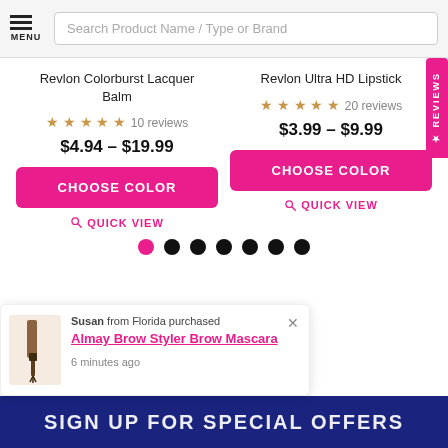Search Product Name / Type or Brand
Revlon Colorburst Lacquer Balm
★★★★★ 10 reviews
$4.94 – $19.99
CHOOSE COLOR
QUICK VIEW
Revlon Ultra HD Lipstick
★★★★★ 20 reviews
$3.99 – $9.99
CHOOSE COLOR
QUICK VIEW
Susan from Florida purchased Almay Brow Styler Brow Mascara 6 minutes ago
SIGN UP FOR SPECIAL OFFERS